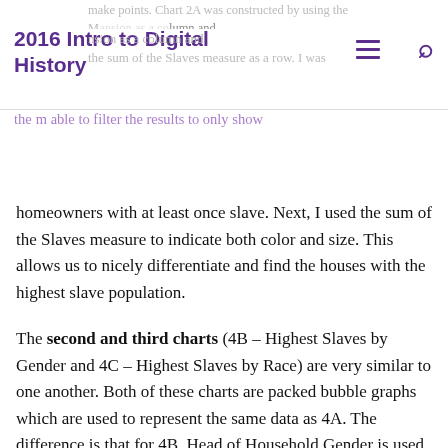2016 Intro to Digital History
make points. Chart 2A was constructed by using the Mansion as a column and the sum of the Slaves measure as a row. I was then able to filter the results to only show homeowners with at least once slave. Next, I used the sum of the Slaves measure to indicate both color and size. This allows us to nicely differentiate and find the houses with the highest slave population.
The second and third charts (4B – Highest Slaves by Gender and 4C – Highest Slaves by Race) are very similar to one another. Both of these charts are packed bubble graphs which are used to represent the same data as 4A. The difference is that for 4B, Head of Household Gender is used as the color indicator instead of Slaves. This allows us to easily see which homes are male-run or female-run, and where the highest concentration of slaves lies (hint